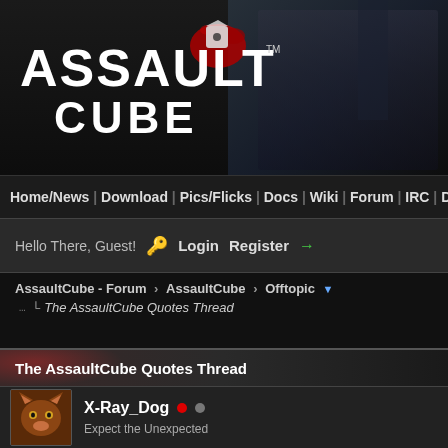[Figure (screenshot): AssaultCube game website header banner with logo]
Home/News | Download | Pics/Flicks | Docs | Wiki | Forum | IRC | D
Hello There, Guest! 🔑 Login   Register →
AssaultCube - Forum › AssaultCube › Offtopic ▼
The AssaultCube Quotes Thread
The AssaultCube Quotes Thread
X-Ray_Dog ● ● Expect the Unexpected
13 Aug 11, 07:53PM
jamz Wrote: → Hi.